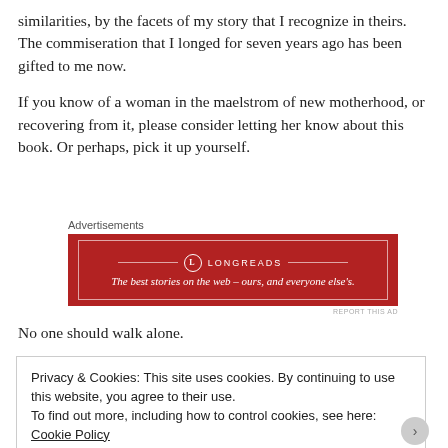similarities, by the facets of my story that I recognize in theirs. The commiseration that I longed for seven years ago has been gifted to me now.
If you know of a woman in the maelstrom of new motherhood, or recovering from it, please consider letting her know about this book. Or perhaps, pick it up yourself.
[Figure (other): Longreads advertisement banner — red background with white border and text: 'LONGREADS — The best stories on the web – ours, and everyone else's.']
No one should walk alone.
Privacy & Cookies: This site uses cookies. By continuing to use this website, you agree to their use.
To find out more, including how to control cookies, see here: Cookie Policy
[Close and accept]